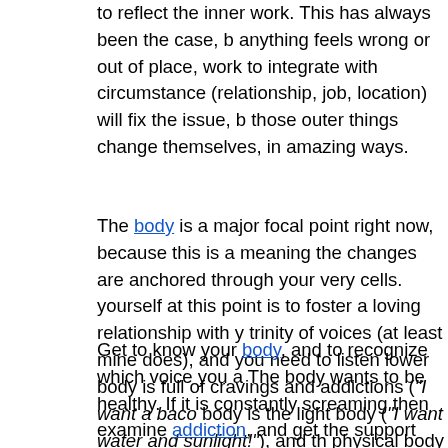to reflect the inner work. This has always been the case, b anything feels wrong or out of place, work to integrate with circumstance (relationship, job, location) will fix the issue, b those outer things change themselves, in amazing ways.
The body is a major focal point right now, because this is a meaning the changes are anchored through your very cells. yourself at this point is to foster a loving relationship with y trinity of voices (at least mine does), and you need to listen lower body is full of cravings and addictions ("I want a baco body is the light body ("I want water and sunlight!"), and th physical body ("I just want a hard boiled egg and a salad. S
Get to know your body, and to recognize which voice you a The body wants to be healthy. If it is constantly screaming then examine addiction, and get the support you need. He body voice doesn't generally scream. It's the quiet, small v support. Once you find that healthy, middle voice, it's easy your body proper support right now is crucial. It is doing so